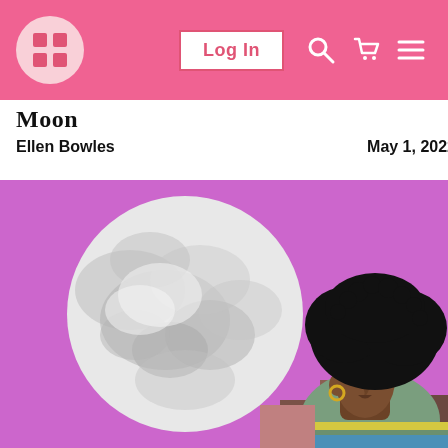Navigation bar with logo, Log In button, search, cart, and menu icons
Moon
Ellen Bowles    May 1, 2022
[Figure (illustration): Illustration of a Black woman with natural hair looking up at a large full moon against a purple background, with a social media share bar on the right side showing Facebook, Twitter, Pinterest, and a fourth icon.]